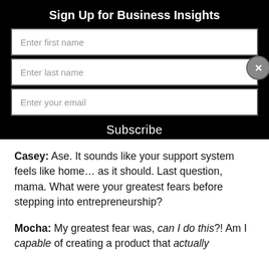Sign Up for Business Insights
[Figure (screenshot): Web form with three input fields: Enter first name, Enter last name, Enter your email, and a Subscribe button. A close (X) button appears on the right side.]
Casey: Ase. It sounds like your support system feels like home… as it should. Last question, mama. What were your greatest fears before stepping into entrepreneurship?
Mocha: My greatest fear was, can I do this?! Am I capable of creating a product that actually